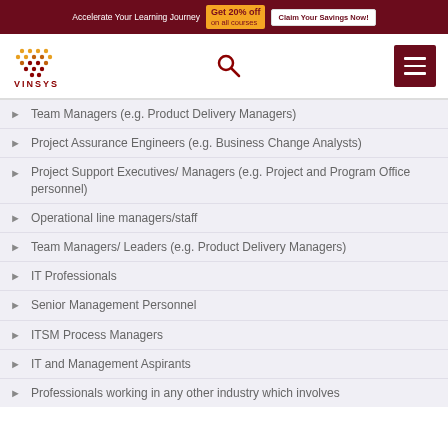Accelerate Your Learning Journey Get 20% off on all courses Claim Your Savings Now!
[Figure (logo): Vinsys logo with orange/red dot grid pattern above text VINSYS]
Team Managers (e.g. Product Delivery Managers)
Project Assurance Engineers (e.g. Business Change Analysts)
Project Support Executives/ Managers (e.g. Project and Program Office personnel)
Operational line managers/staff
Team Managers/ Leaders (e.g. Product Delivery Managers)
IT Professionals
Senior Management Personnel
ITSM Process Managers
IT and Management Aspirants
Professionals working in any other industry which involves